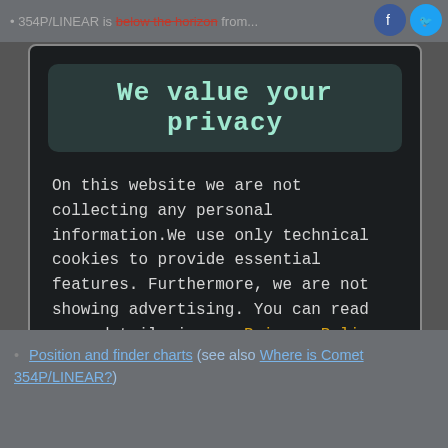354P/LINEAR is below the horizon from...
We value your privacy
On this website we are not collecting any personal information.We use only technical cookies to provide essential features. Furthermore, we are not showing advertising. You can read more details in our Privacy Policy page.
If you proceed we'll assume you agree to receive our cookies. Thank you.
Proceed to TheSkyLive.com
Position and finder charts (see also Where is Comet 354P/LINEAR?)